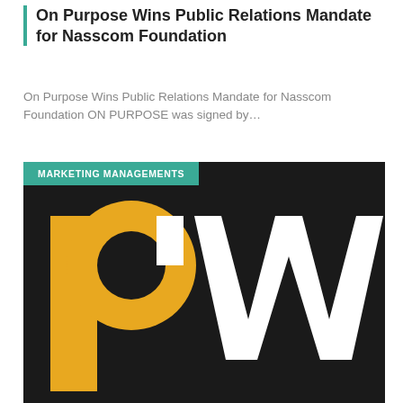On Purpose Wins Public Relations Mandate for Nasscom Foundation
On Purpose Wins Public Relations Mandate for Nasscom Foundation ON PURPOSE was signed by…
[Figure (logo): PRWeek logo — large yellow 'p' and white 'w' letters on a dark/black background, with a 'MARKETING MANAGEMENTS' teal category badge in the top-left corner]